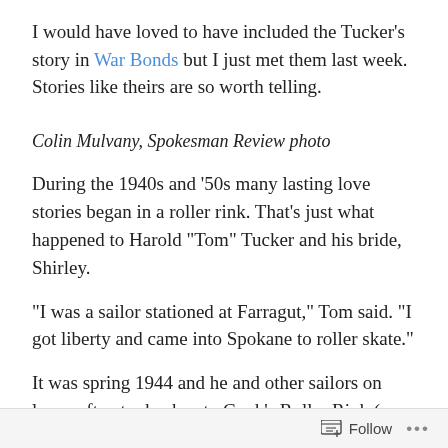I would have loved to have included the Tucker’s story in War Bonds but I just met them last week. Stories like theirs are so worth telling.
Colin Mulvany, Spokesman Review photo
During the 1940s and ’50s many lasting love stories began in a roller rink. That’s just what happened to Harold “Tom” Tucker and his bride, Shirley.
“I was a sailor stationed at Farragut,” Tom said. “I got liberty and came into Spokane to roller skate.”
It was spring 1944 and he and other sailors on leave often took a bus to Cook’s Roller Rink (now Pattison’s). Shirley,
Follow •••